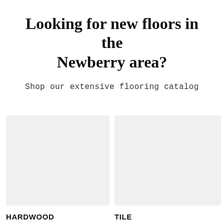Looking for new floors in the Newberry area?
Shop our extensive flooring catalog
[Figure (photo): Image placeholder for hardwood flooring product]
[Figure (photo): Image placeholder for tile flooring product]
HARDWOOD
TILE